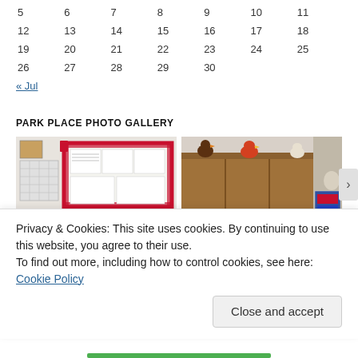| 5 | 6 | 7 | 8 | 9 | 10 | 11 |
| 12 | 13 | 14 | 15 | 16 | 17 | 18 |
| 19 | 20 | 21 | 22 | 23 | 24 | 25 |
| 26 | 27 | 28 | 29 | 30 |  |  |
« Jul
PARK PLACE PHOTO GALLERY
[Figure (photo): Two photos: left shows a room with a bulletin board covered in red-checkered border and papers on the wall, and a white grid board; right shows wooden upper cabinets with decorative chicken figures on top.]
Privacy & Cookies: This site uses cookies. By continuing to use this website, you agree to their use.
To find out more, including how to control cookies, see here: Cookie Policy
Close and accept